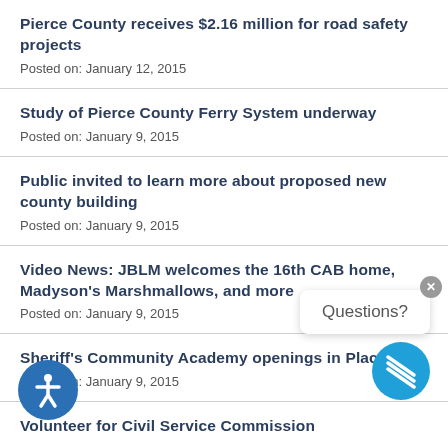Pierce County receives $2.16 million for road safety projects
Posted on: January 12, 2015
Study of Pierce County Ferry System underway
Posted on: January 9, 2015
Public invited to learn more about proposed new county building
Posted on: January 9, 2015
Video News: JBLM welcomes the 16th CAB home, Madyson's Marshmallows, and more
Posted on: January 9, 2015
Sheriff's Community Academy openings in Place
Posted on: January 9, 2015
Volunteer for Civil Service Commission